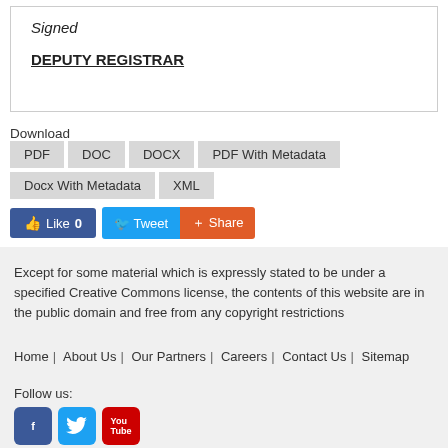Signed
DEPUTY REGISTRAR
Download  PDF  DOC  DOCX  PDF With Metadata  Docx With Metadata  XML
Like 0  Tweet  Share
Except for some material which is expressly stated to be under a specified Creative Commons license, the contents of this website are in the public domain and free from any copyright restrictions
Home | About Us | Our Partners | Careers | Contact Us | Sitemap
Follow us: